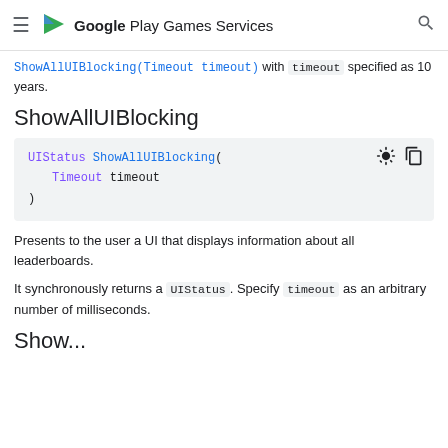Google Play Games Services
ShowAllUIBlocking(Timeout timeout) with timeout specified as 10 years.
ShowAllUIBlocking
[Figure (screenshot): Code block showing: UIStatus ShowAllUIBlocking(
  Timeout timeout
)]
Presents to the user a UI that displays information about all leaderboards.
It synchronously returns a UIStatus. Specify timeout as an arbitrary number of milliseconds.
Show...